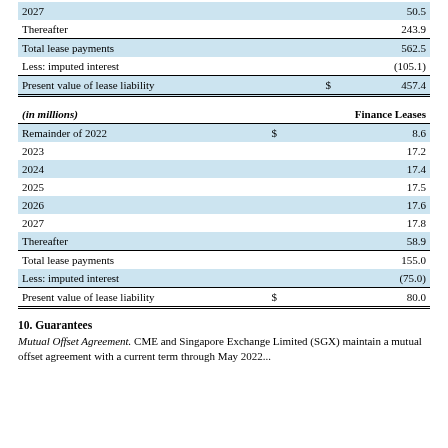|  |  |  |
| --- | --- | --- |
| 2027 |  | 50.5 |
| Thereafter |  | 243.9 |
| Total lease payments |  | 562.5 |
| Less: imputed interest |  | (105.1) |
| Present value of lease liability | $ | 457.4 |
| (in millions) |  | Finance Leases |
| --- | --- | --- |
| Remainder of 2022 | $ | 8.6 |
| 2023 |  | 17.2 |
| 2024 |  | 17.4 |
| 2025 |  | 17.5 |
| 2026 |  | 17.6 |
| 2027 |  | 17.8 |
| Thereafter |  | 58.9 |
| Total lease payments |  | 155.0 |
| Less: imputed interest |  | (75.0) |
| Present value of lease liability | $ | 80.0 |
10. Guarantees
Mutual Offset Agreement. CME and Singapore Exchange Limited (SGX) maintain a mutual offset agreement with a current term through May 2022...